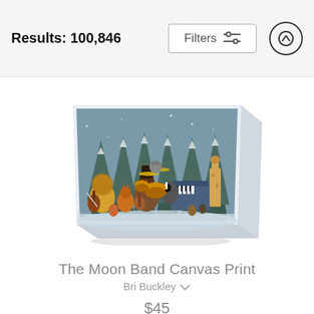Results: 100,846
Filters
[Figure (illustration): Canvas print product image showing 'The Moon Band Canvas Print' — an illustrated canvas wrap depicting various animals playing instruments in a snowy forest scene. Animals include a lion playing cello, a bear, a badger at piano, a giraffe, and others. Winter pine trees in the background.]
The Moon Band Canvas Print
Bri Buckley
$45